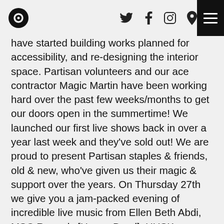[Logo] [Twitter] [Facebook] [Instagram] [Location] [Menu]
have started building works planned for accessibility, and re-designing the interior space. Partisan volunteers and our ace contractor Magic Martin have been working hard over the past few weeks/months to get our doors open in the summertime! We launched our first live shows back in over a year last week and they've sold out! We are proud to present Partisan staples & friends, old & new, who've given us their magic & support over the years. On Thursday 27th we give you a jam-packed evening of incredible live music from Ellen Beth Abdi, MSC Records [House Band], HUSK, Algernon Cornelius and Bunny Hoova! Then on Saturday 29th, 3 of Partisan's favourite collectives, who bring so much energy to the city. Queer Family Tea and Fatty Acid join forces for a night of gloriously queer entertainment and performance art. Accompanied by in-house DJ Collective All Hands on Deck to keep you warm with inferno selections during a cabaret extravaganza. We'll start as we mean to go on, with collaborations and showcasing